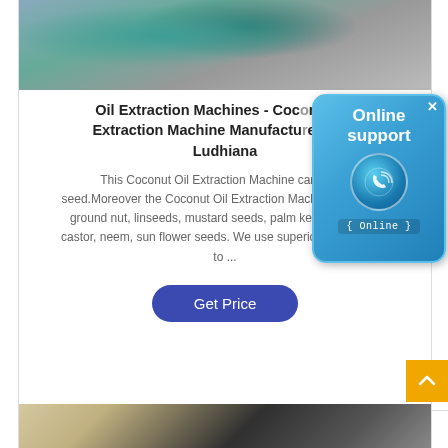[Figure (photo): Photo of a coconut oil extraction machine, teal/green colored industrial machinery]
Oil Extraction Machines - Coconut Oil Extraction Machine Manufacturer from Ludhiana
This Coconut Oil Extraction Machine can crush seed.Moreover the Coconut Oil Extraction Machine can crush ground nut, linseeds, mustard seeds, palm kernels, seeds, castor, neem, sun flower seeds. We use superior raw material to ...
[Figure (infographic): Online support chat bubble with phone icon and '{ Online }' label]
[Figure (photo): Partial photo of another machine at bottom of page]